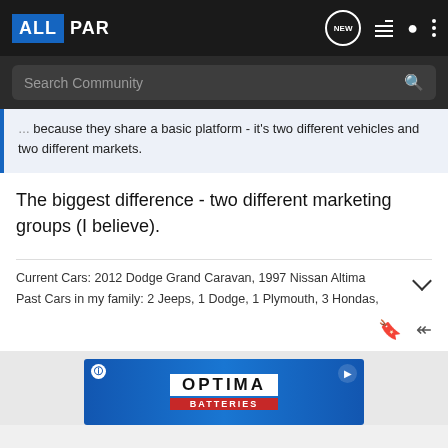ALLPAR — Search Community
because they share a basic platform - it's two different vehicles and two different markets.
The biggest difference - two different marketing groups (I believe).
Current Cars: 2012 Dodge Grand Caravan, 1997 Nissan Altima
Past Cars in my family: 2 Jeeps, 1 Dodge, 1 Plymouth, 3 Hondas,
[Figure (screenshot): Optima Batteries advertisement banner with blue background]